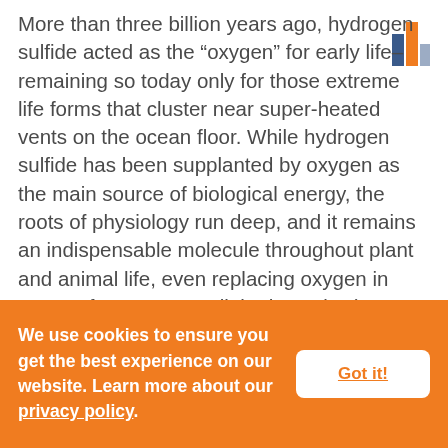[Figure (other): Small bar chart logo icon in top-right corner with two bars — one dark blue and one orange — representing a publisher or website logo]
More than three billion years ago, hydrogen sulfide acted as the “oxygen” for early life–remaining so today only for those extreme life forms that cluster near super-heated vents on the ocean floor. While hydrogen sulfide has been supplanted by oxygen as the main source of biological energy, the roots of physiology run deep, and it remains an indispensable molecule throughout plant and animal life, even replacing oxygen in cases of temporary cellular hypoxia. (For more about the origin and functions of hydrogen sulfide in
We use cookies to ensure you get the best experience on our website. Learn more about our privacy policy.